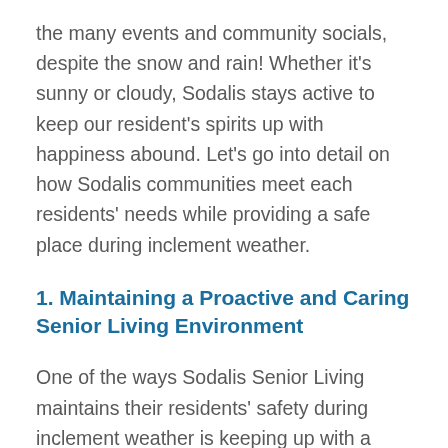the many events and community socials, despite the snow and rain! Whether it’s sunny or cloudy, Sodalis stays active to keep our resident’s spirits up with happiness abound. Let’s go into detail on how Sodalis communities meet each residents’ needs while providing a safe place during inclement weather.
1. Maintaining a Proactive and Caring Senior Living Environment
One of the ways Sodalis Senior Living maintains their residents’ safety during inclement weather is keeping up with a regular routine. A normal schedule helps put many residents’ minds at